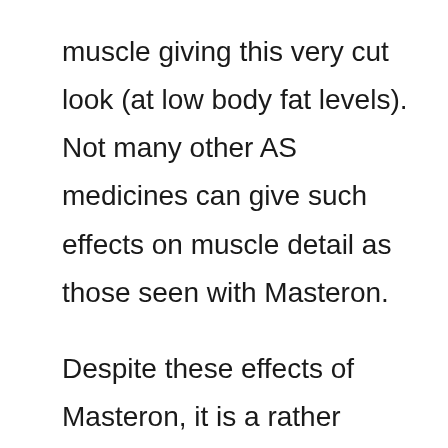muscle giving this very cut look (at low body fat levels). Not many other AS medicines can give such effects on muscle detail as those seen with Masteron.

Despite these effects of Masteron, it is a rather weak AS in itself. One would hardly benefit at all from use of Masteron on its own, and